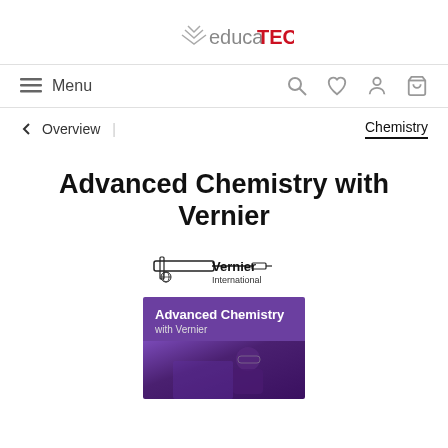educaTEC
Menu
← Overview | Chemistry
Advanced Chemistry with Vernier
[Figure (logo): Vernier International logo with caliper graphic]
[Figure (photo): Book cover: Advanced Chemistry with Vernier, purple background with student in lab goggles]